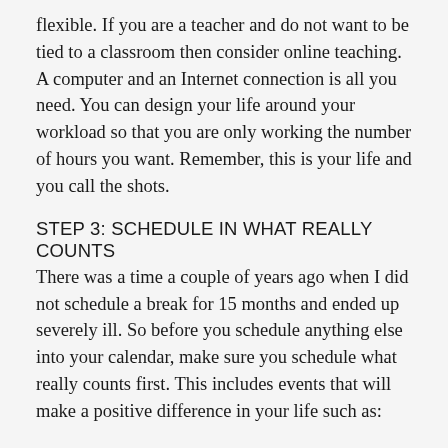flexible. If you are a teacher and do not want to be tied to a classroom then consider online teaching. A computer and an Internet connection is all you need. You can design your life around your workload so that you are only working the number of hours you want. Remember, this is your life and you call the shots.
STEP 3: SCHEDULE IN WHAT REALLY COUNTS
There was a time a couple of years ago when I did not schedule a break for 15 months and ended up severely ill. So before you schedule anything else into your calendar, make sure you schedule what really counts first. This includes events that will make a positive difference in your life such as:
Time for yourself to unwind, relax and recharge. Vacation time. Long breaks should be a minimum of two weeks twice yearly and mini breaks such as weekends away should be scheduled every two months. Studies